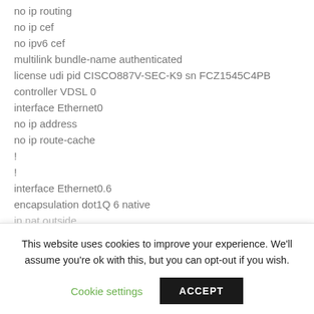no ip routing
no ip cef
no ipv6 cef
multilink bundle-name authenticated
license udi pid CISCO887V-SEC-K9 sn FCZ1545C4PB
controller VDSL 0
interface Ethernet0
no ip address
no ip route-cache
!
!
interface Ethernet0.6
encapsulation dot1Q 6 native
ip nat outside
This website uses cookies to improve your experience. We'll assume you're ok with this, but you can opt-out if you wish.
Cookie settings
ACCEPT